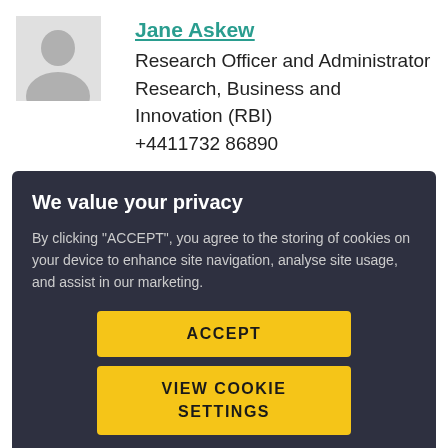[Figure (photo): Generic person silhouette avatar placeholder image, light grey background]
Jane Askew
Research Officer and Administrator
Research, Business and Innovation (RBI)
+4411732 86890
We value your privacy
By clicking "ACCEPT", you agree to the storing of cookies on your device to enhance site navigation, analyse site usage, and assist in our marketing.
ACCEPT
VIEW COOKIE SETTINGS
[Figure (photo): Partial photo of a person in a suit, bottom of page]
Associate Lecturer and Researcher